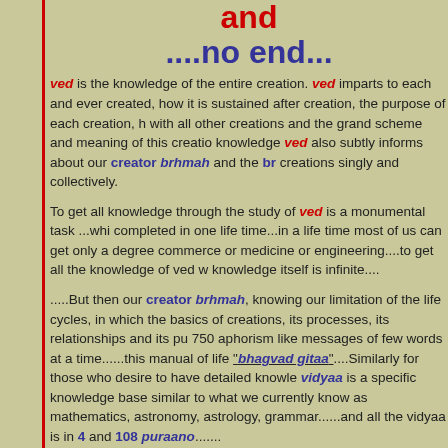and ....no end...
ved is the knowledge of the entire creation. ved imparts to each and every created, how it is sustained after creation, the purpose of each creation, h with all other creations and the grand scheme and meaning of this creatio knowledge ved also subtly informs about our creator brhmah and the br creations singly and collectively.
To get all knowledge through the study of ved is a monumental task ...whi completed in one life time...in a life time most of us can get only a degree commerce or medicine or engineering....to get all the knowledge of ved w knowledge itself is infinite....
.....But then our creator brhmah, knowing our limitation of the life cycles, in which the basics of creations, its processes, its relationships and its pu 750 aphorism like messages of few words at a time......this manual of life "bhagvad gitaa"....Similarly for those who desire to have detailed knowle vidyaa is a specific knowledge base similar to what we currently know as mathematics, astronomy, astrology, grammar......and all the vidyaa is in 4 and 108 puraano.......
....Prajaapati Vishva Aashram Foundation (PVAF) has a primary manda acquire knowledge per se...PVAF believes that studying any part of ved is acquire knowledge...so let us pray that we study daily ...om tat sat...
At present on this planet earth we have various faith systems leading to a its own name and also a name for whatever it believes as a Creator....but one message to all its follower...knowledge shall set you free....let us th Creator bless us to walk on this path no matter how we stumble, fall or so continually blessed by our Creator to have the strength and the means...